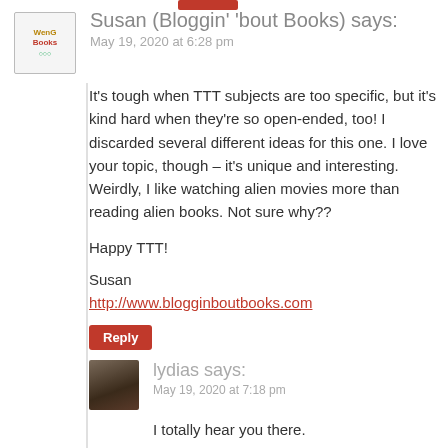Susan (Bloggin' 'bout Books) says:
May 19, 2020 at 6:28 pm
It’s tough when TTT subjects are too specific, but it’s kind hard when they’re so open-ended, too! I discarded several different ideas for this one. I love your topic, though – it’s unique and interesting. Weirdly, I like watching alien movies more than reading alien books. Not sure why??
Happy TTT!
Susan
http://www.blogginboutbooks.com
Reply
lydias says:
May 19, 2020 at 7:18 pm
I totally hear you there.
What is it about alien movies that you